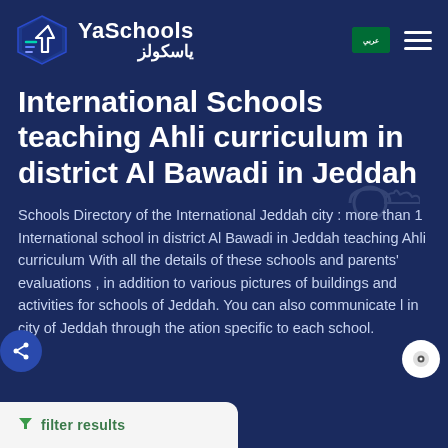[Figure (logo): YaSchools logo with Arabic text ياسكولز and a stylized arrow/school icon in white and teal on dark blue background]
International Schools teaching Ahli curriculum in district Al Bawadi in Jeddah
Schools Directory of the International Jeddah city : more than 1 International school in district Al Bawadi in Jeddah teaching Ahli curriculum With all the details of these schools and parents' evaluations , in addition to various pictures of buildings and activities for schools of Jeddah. You can also communicate l in city of Jeddah through the ation specific to each school.